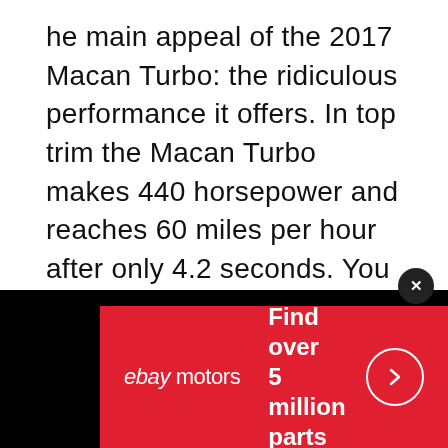he main appeal of the 2017 Macan Turbo: the ridiculous performance it offers. In top trim the Macan Turbo makes 440 horsepower and reaches 60 miles per hour after only 4.2 seconds. You can get the interior covered in Alcantara and have big ceramic brakes installed from the factory. This is an absolute athlete of a vehicle and still manages to do everything an SUV should.
So What Is the Best Small SUV?
[Figure (other): eBay Motors advertisement banner with red background. Shows 'ebay motors' logo on the left, 'Find over 5 million parts' text in center, and a circular arrow button on the right. A close (x) button appears in the top right of the ad.]